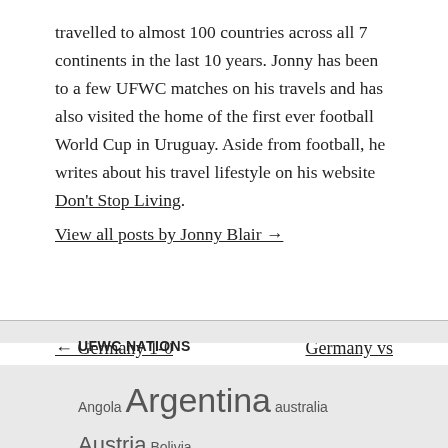travelled to almost 100 countries across all 7 continents in the last 10 years. Jonny has been to a few UFWC matches on his travels and has also visited the home of the first ever football World Cup in Uruguay. Aside from football, he writes about his travel lifestyle on his website Don't Stop Living.
View all posts by Jonny Blair →
← Germany 1-0 Argentina, FIFA and UFWC titles unified
Germany vs Argentina: World Cup Final rematch →
UFWC NATIONS
Angola Argentina australia Austria Bolivia Brazil Chile ... argentina Costa Ri...